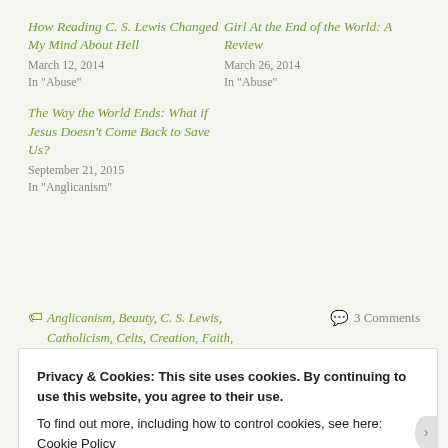How Reading C. S. Lewis Changed My Mind About Hell
March 12, 2014
In "Abuse"
Girl At the End of the World: A Review
March 26, 2014
In "Abuse"
The Way the World Ends: What if Jesus Doesn't Come Back to Save Us?
September 21, 2015
In "Anglicanism"
Anglicanism, Beauty, C. S. Lewis, Catholicism, Celts, Creation, Faith, Inspiration, Religion, Theology, Tolkien
3 Comments
Privacy & Cookies: This site uses cookies. By continuing to use this website, you agree to their use.
To find out more, including how to control cookies, see here: Cookie Policy